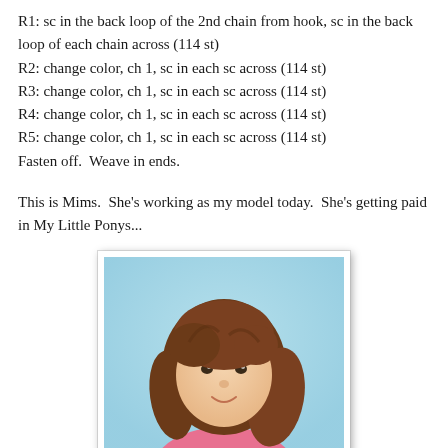R1: sc in the back loop of the 2nd chain from hook, sc in the back loop of each chain across (114 st)
R2: change color, ch 1, sc in each sc across (114 st)
R3: change color, ch 1, sc in each sc across (114 st)
R4: change color, ch 1, sc in each sc across (114 st)
R5: change color, ch 1, sc in each sc across (114 st)
Fasten off.  Weave in ends.
This is Mims.  She's working as my model today.  She's getting paid in My Little Ponys...
[Figure (photo): A young girl with long brown hair wearing a pink top, photographed against a light blue background. The photo has a white border/frame.]